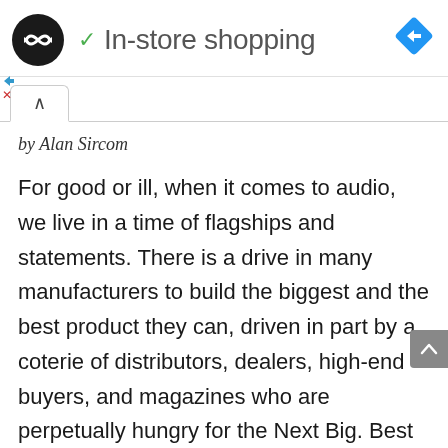In-store shopping
by Alan Sircom
For good or ill, when it comes to audio, we live in a time of flagships and statements. There is a drive in many manufacturers to build the biggest and the best product they can, driven in part by a coterie of distributors, dealers, high-end buyers, and magazines who are perpetually hungry for the Next Big. Best Thing. In many cases, that bigger-is-better mindset that drives brands to make a